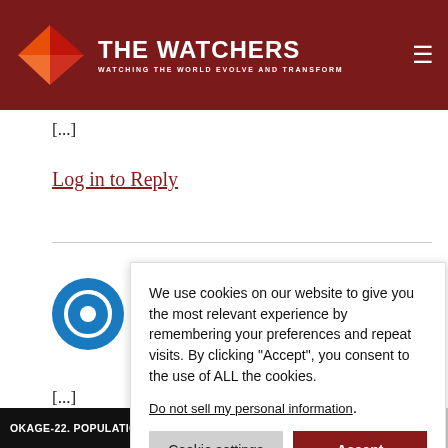THE WATCHERS — WATCHING THE WORLD EVOLVE AND TRANSFORM
[...]
Log in to Reply
NEW... "otr... met... Ros... Friday...
[...]
OKAGE-22. POPULATION AFFECTED BY CATEGORY 1 (120 KM/
We use cookies on our website to give you the most relevant experience by remembering your preferences and repeat visits. By clicking "Accept", you consent to the use of ALL the cookies.
Do not sell my personal information.